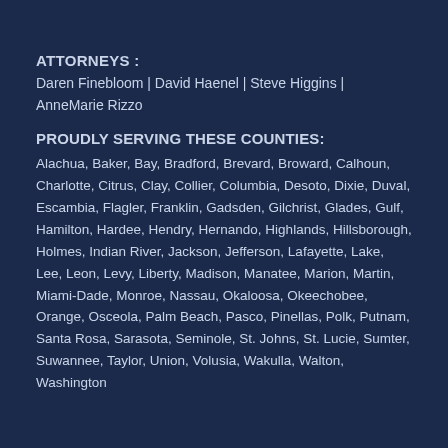ATTORNEYS :
Daren Finebloom | David Haenel | Steve Higgins | AnneMarie Rizzo
PROUDLY SERVING THESE COUNTIES:
Alachua, Baker, Bay, Bradford, Brevard, Broward, Calhoun, Charlotte, Citrus, Clay, Collier, Columbia, Desoto, Dixie, Duval, Escambia, Flagler, Franklin, Gadsden, Gilchrist, Glades, Gulf, Hamilton, Hardee, Hendry, Hernando, Highlands, Hillsborough, Holmes, Indian River, Jackson, Jefferson, Lafayette, Lake, Lee, Leon, Levy, Liberty, Madison, Manatee, Marion, Martin, Miami-Dade, Monroe, Nassau, Okaloosa, Okeechobee, Orange, Osceola, Palm Beach, Pasco, Pinellas, Polk, Putnam, Santa Rosa, Sarasota, Seminole, St. Johns, St. Lucie, Sumter, Suwannee, Taylor, Union, Volusia, Wakulla, Walton, Washington